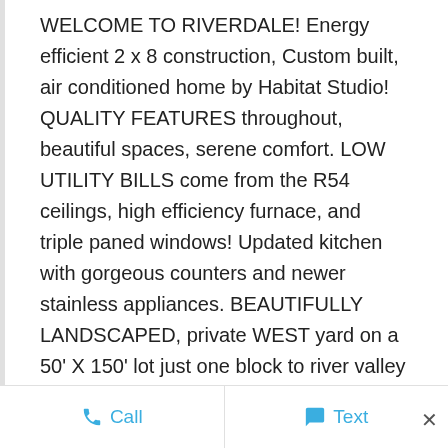WELCOME TO RIVERDALE! Energy efficient 2 x 8 construction, Custom built, air conditioned home by Habitat Studio! QUALITY FEATURES throughout, beautiful spaces, serene comfort. LOW UTILITY BILLS come from the R54 ceilings, high efficiency furnace, and triple paned windows! Updated kitchen with gorgeous counters and newer stainless appliances. BEAUTIFULLY LANDSCAPED, private WEST yard on a 50' X 150' lot just one block to river valley trails. The floor plan features a ton of windows and soaring vaulted ceilings. PERFECT for empty nesters, professionals, and small families with teenagers. Great room concept is
Call   Text